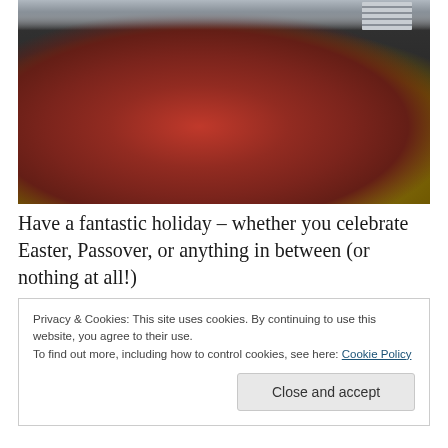[Figure (photo): A fruit tart with strawberries and blueberries arranged on a nutty/oat crust, photographed on a dark surface with stacked plates in the background.]
Have a fantastic holiday – whether you celebrate Easter, Passover, or anything in between (or nothing at all!)
Privacy & Cookies: This site uses cookies. By continuing to use this website, you agree to their use.
To find out more, including how to control cookies, see here: Cookie Policy

Close and accept